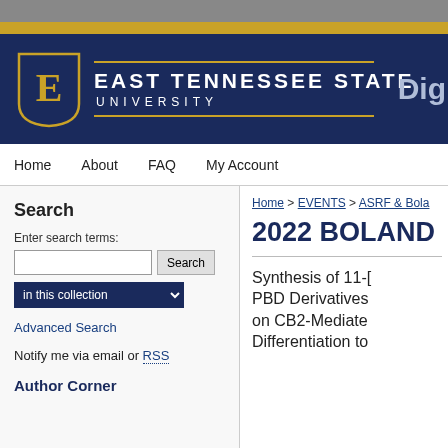[Figure (logo): East Tennessee State University logo and header with navy blue background, gold shield with 'E', university name in white, and 'Dig' text on right]
Home   About   FAQ   My Account
Search
Enter search terms:
in this collection
Advanced Search
Notify me via email or RSS
Author Corner
Home > EVENTS > ASRF & Bola
2022 BOLAND
Synthesis of 11-[...] PBD Derivatives [...] on CB2-Mediate[...] Differentiation to